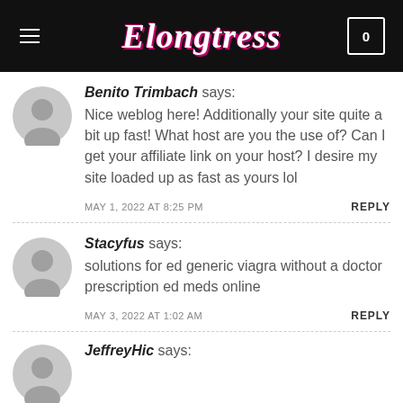Elongtress — 0
Benito Trimbach says:
Nice weblog here! Additionally your site quite a bit up fast! What host are you the use of? Can I get your affiliate link on your host? I desire my site loaded up as fast as yours lol
MAY 1, 2022 AT 8:25 PM  REPLY
Stacyfus says:
solutions for ed generic viagra without a doctor prescription ed meds online
MAY 3, 2022 AT 1:02 AM  REPLY
JeffreyHic says: